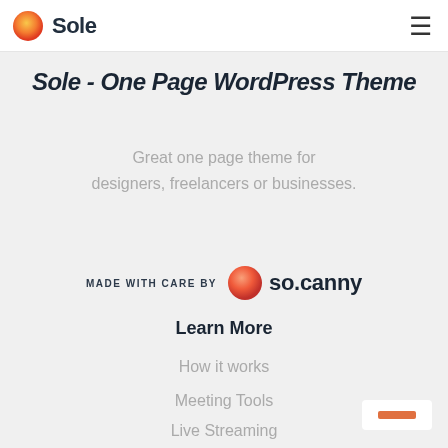Sole
Sole - One Page WordPress Theme
Great one page theme for designers, freelancers or businesses.
[Figure (logo): MADE WITH CARE BY so.canny logo with orange gradient circle]
Learn More
How it works
Meeting Tools
Live Streaming